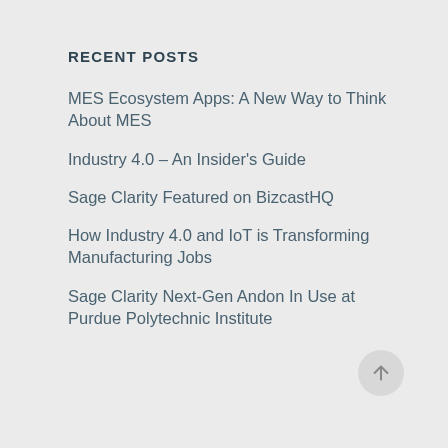RECENT POSTS
MES Ecosystem Apps: A New Way to Think About MES
Industry 4.0 – An Insider's Guide
Sage Clarity Featured on BizcastHQ
How Industry 4.0 and IoT is Transforming Manufacturing Jobs
Sage Clarity Next-Gen Andon In Use at Purdue Polytechnic Institute